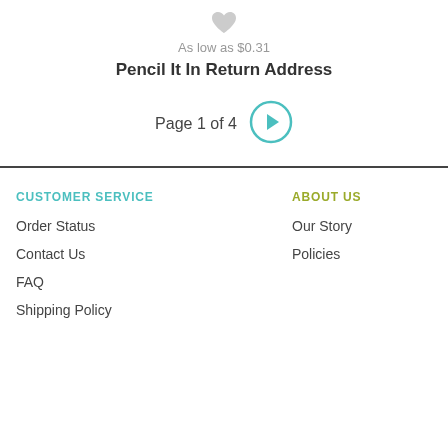[Figure (illustration): Light gray heart icon (wishlist/favorite button)]
As low as $0.31
Pencil It In Return Address
Page 1 of 4
CUSTOMER SERVICE
Order Status
Contact Us
FAQ
Shipping Policy
ABOUT US
Our Story
Policies